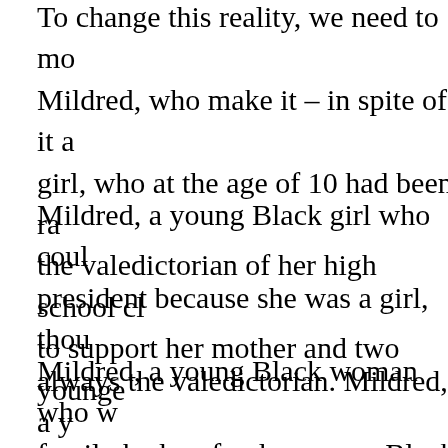To change this reality, we need to mo... Mildred, who make it – in spite of it a... girl, who at the age of 10 had been ra... the valedictorian of her high school cl... to support her mother and two younge...
Mildred, a young Black girl who coul... president because she was a girl, thou... always the valedictorian. Mildred, a y... endured the humiliation of a teacher p... tattered and torn because of poverty.
Mildred, a young Black woman who w... family had no food; a young Black wo... because he was often in jail; and a yo... mother never finished 6th grade. Ulti... woman who made it in spite of it all; a... climb out of poverty, racism, segregat... discrimination to influence over 1000... classes as a professor.
There are many Mildred's still out the...